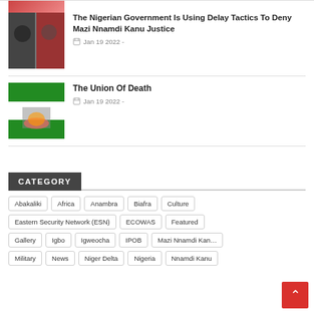[Figure (photo): Partial image of politicians at top of page]
The Nigerian Government Is Using Delay Tactics To Deny Mazi Nnamdi Kanu Justice
Jan 19 2022 -
[Figure (photo): Nigerian flag with fire/smoke]
The Union Of Death
Jan 19 2022 -
CATEGORY
Abakaliki
Africa
Anambra
Biafra
Culture
Eastern Security Network (ESN)
ECOWAS
Featured
Gallery
Igbo
Igweocha
IPOB
Mazi Nnamdi Kanu
Military
News
Niger Delta
Nigeria
Nnamdi Kanu